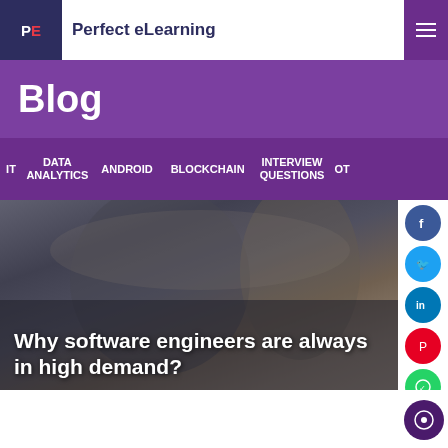PE Perfect eLearning
Blog
DATA ANALYTICS | ANDROID | BLOCKCHAIN | INTERVIEW QUESTIONS | OT...
[Figure (photo): Blurred background photo of a person, likely a student or professional, with dark clothing. Overlaid with bold white text reading: Why software engineers are always in high demand?]
Why software engineers are always in high demand?